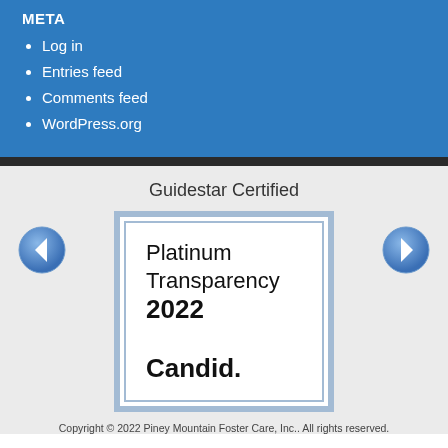META
Log in
Entries feed
Comments feed
WordPress.org
Guidestar Certified
[Figure (other): Candid Platinum Transparency 2022 certificate badge with outer and inner blue-gray border]
Copyright © 2022 Piney Mountain Foster Care, Inc.. All rights reserved.